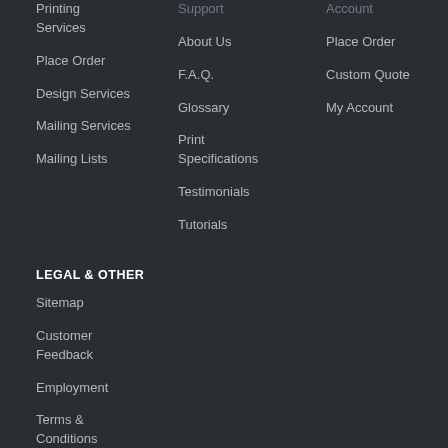Printing Services
Place Order
Design Services
Mailing Services
Mailing Lists
Support
About Us
F.A.Q.
Glossary
Print Specifications
Testimonials
Tutorials
Account
Place Order
Custom Quote
My Account
LEGAL & OTHER
Sitemap
Customer Feedback
Employment
Terms & Conditions